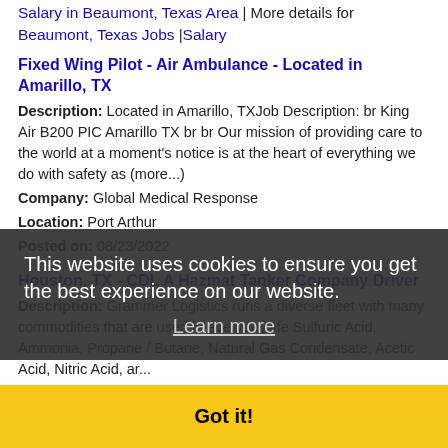Salary in Beaumont, Texas Area | More details for Beaumont, Texas Jobs |Salary
Fixed Wing Pilot - Air Ambulance - Located in Amarillo, TX
Description: Located in Amarillo, TXJob Description: br King Air B200 PIC Amarillo TX br br Our mission of providing care to the world at a moment's notice is at the heart of everything we do with safety as (more...)
Company: Global Medical Response
Location: Port Arthur
Posted on: 08/23/2022
Houston, TX - CDL A Hazmat Tanker Company Driver
Description: Grammer Logistics runs a diverse fleet with many commodities that are used in everyday life Sulfuric Acid, Ammonia, Propane / Butane, Natural Gas Condensate, Acetic Acid, Nitric Acid, and...
Company: Grammer Logistics
Location: Texas City
Posted on: 08/23/2022
Psychiatric Nurse Practitioner
Description: Psychiatric-Mental Health opening in Port Arthur, Texas. This and other nurse practitioner
This website uses cookies to ensure you get the best experience on our website. Learn more
Got it!